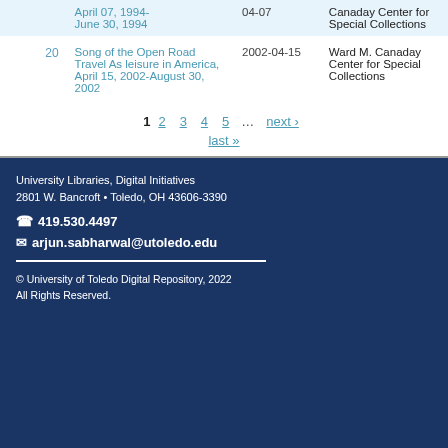| # | Title | Date | Location |
| --- | --- | --- | --- |
|  | April 07, 1994-
June 30, 1994 | 04-07 | Canaday Center for Special Collections |
| 20 | Song of the Open Road Travel As leisure in America, April 15, 2002-August 30, 2002 | 2002-04-15 | Ward M. Canaday Center for Special Collections |
1  2  3  4  5  ...  next ›  last »
University Libraries, Digital Initiatives
2801 W. Bancroft • Toledo, OH 43606-3390
☎ 419.530.4497
✉ arjun.sabharwal@utoledo.edu
© University of Toledo Digital Repository, 2022
All Rights Reserved.